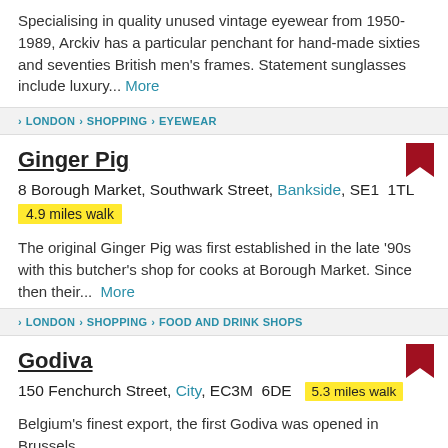Specialising in quality unused vintage eyewear from 1950-1989, Arckiv has a particular penchant for hand-made sixties and seventies British men's frames. Statement sunglasses include luxury... More
LONDON > SHOPPING > EYEWEAR
Ginger Pig
8 Borough Market, Southwark Street, Bankside, SE1  1TL
4.9 miles walk
The original Ginger Pig was first established in the late '90s with this butcher's shop for cooks at Borough Market. Since then their... More
LONDON > SHOPPING > FOOD AND DRINK SHOPS
Godiva
150 Fenchurch Street, City, EC3M  6DE   5.3 miles walk
Belgium's finest export, the first Godiva was opened in Brussels